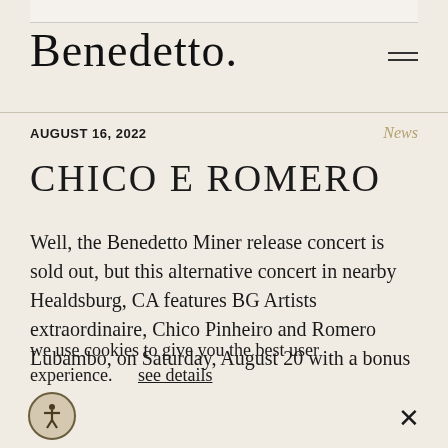Benedetto
AUGUST 16, 2022
News
CHICO E ROMERO
Well, the Benedetto Miner release concert is sold out, but this alternative concert in nearby Healdsburg, CA features BG Artists extraordinaire, Chico Pinheiro and Romero Lubambo, on Saturday, August 20 with a bonus
we use cookies to give you the best user experience.    see details